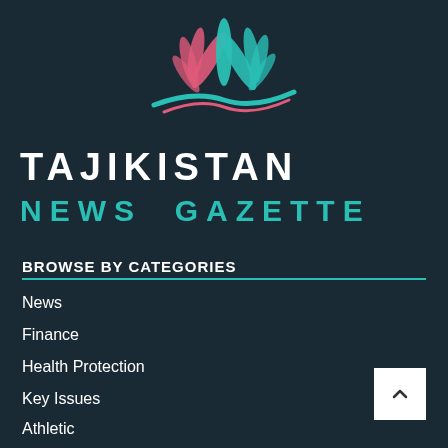[Figure (logo): Tajikistan News Gazette logo — stylized flower/lotus with pink and teal petals above a teal wave, on dark background]
TAJIKISTAN
NEWS GAZETTE
BROWSE BY CATEGORIES
News
Finance
Health Protection
Key Issues
Athletic
Legal & Judicial